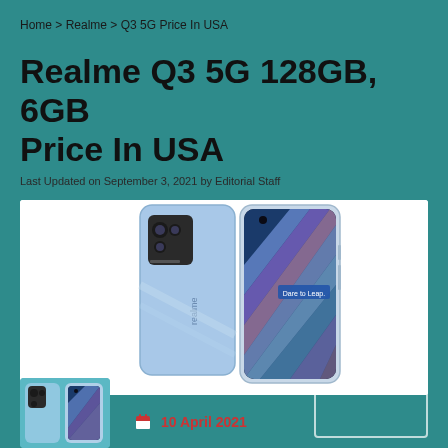Home > Realme > Q3 5G Price In USA
Realme Q3 5G 128GB, 6GB Price In USA
Last Updated on September 3, 2021 by Editorial Staff
[Figure (photo): Realme Q3 5G smartphone shown from back and front, blue color with diagonal stripe pattern on screen, Dare to Leap branding visible]
[Figure (photo): Smaller thumbnail of Realme Q3 5G phone at bottom left]
10 April 2021